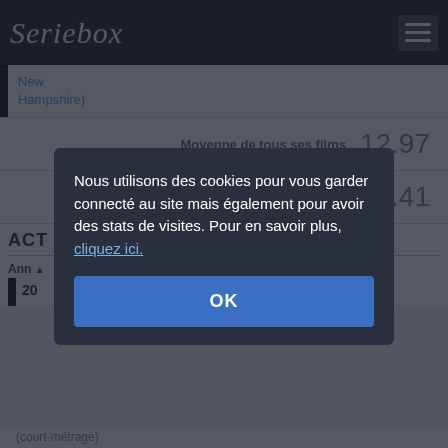Seriebox
New Hampshire)
| Label | Value |
| --- | --- |
| Moyenne de tous ses films | 12.97 |
| Juste ceux en tant que principal ou secondaire (17 films) | 12.41 |
ACT
Ann ▲
20
Nous utilisons des cookies pour vous garder connecté au site mais également pour avoir des stats de visites. Pour en savoir plus, cliquez ici.
OK
(court-métrage)